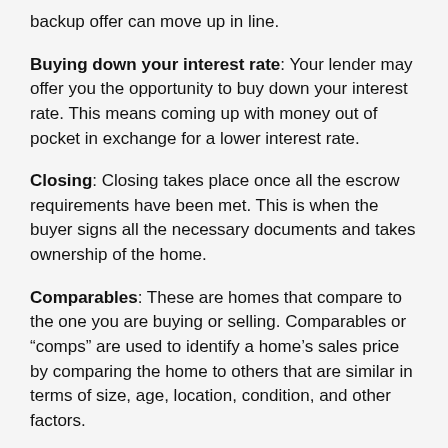backup offer can move up in line.
Buying down your interest rate: Your lender may offer you the opportunity to buy down your interest rate. This means coming up with money out of pocket in exchange for a lower interest rate.
Closing: Closing takes place once all the escrow requirements have been met. This is when the buyer signs all the necessary documents and takes ownership of the home.
Comparables: These are homes that compare to the one you are buying or selling. Comparables or “comps” are used to identify a home’s sales price by comparing the home to others that are similar in terms of size, age, location, condition, and other factors.
Contingency: A contingency is sometimes attached to an offer, making said offer dependent on other factors, like